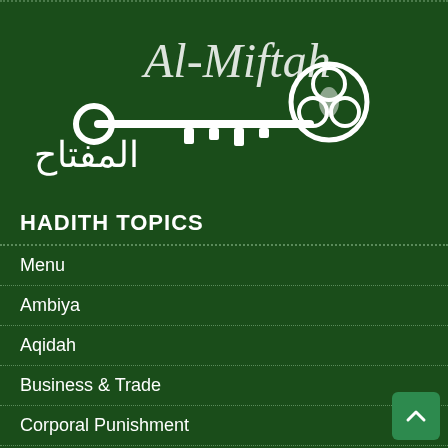[Figure (logo): Al-Miftah logo with Arabic calligraphy text and decorative key graphic on dark green background]
HADITH TOPICS
Menu
Ambiya
Aqidah
Business & Trade
Corporal Punishment
Death & Janazah
Dhikr